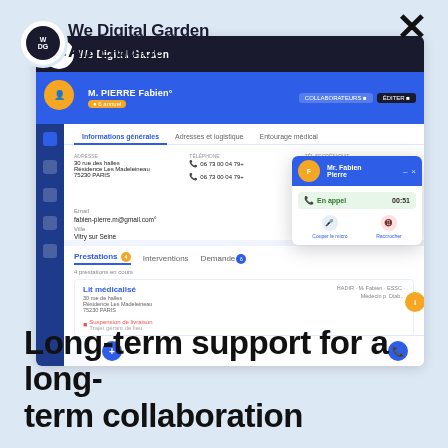[Figure (screenshot): Screenshot of a web application (WeDigital Garden platform for Air Liquide) showing a patient record for M. PIERRE Fabien with tabs for Informations générales, Adresses et logistique, Entourage médical, sections for Prestations, Interventions, Demande, a Lit médicalisé card with a Suspension de livraison alert, and a popup showing Mr. Fabien Pierre with status En appel and options Couper le micro and Raccrocher]
Long-term support for a long-term collaboration